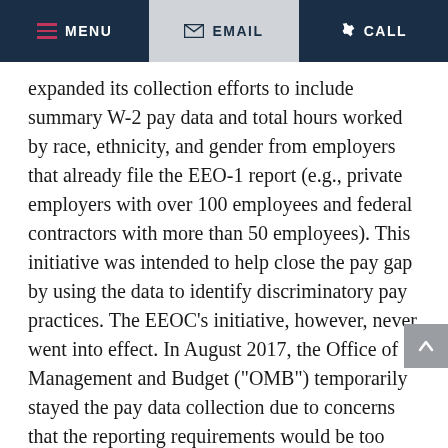MENU  EMAIL  CALL
expanded its collection efforts to include summary W-2 pay data and total hours worked by race, ethnicity, and gender from employers that already file the EEO-1 report (e.g., private employers with over 100 employees and federal contractors with more than 50 employees). This initiative was intended to help close the pay gap by using the data to identify discriminatory pay practices. The EEOC's initiative, however, never went into effect. In August 2017, the Office of Management and Budget ("OMB") temporarily stayed the pay data collection due to concerns that the reporting requirements would be too burdensome for